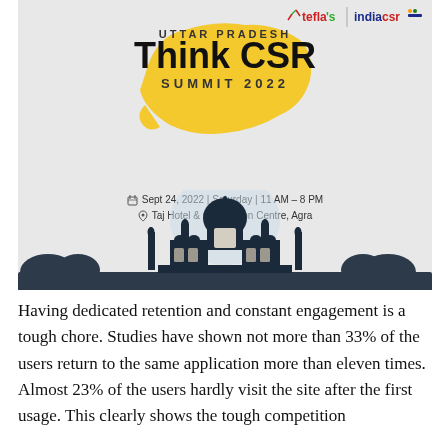[Figure (illustration): Event banner for Uttar Pradesh Think CSR Summit 2022. Shows logos of tefla's and indiacsr at top right, a yellow silhouette map of Uttar Pradesh behind the title text 'UTTAR PRADESH Think CSR SUMMIT 2022', event details 'Sept 24, 2022 | Saturday | 11 AM – 8 PM' and 'Taj Hotel & Convention Centre, Agra', and a dark blue Taj Mahal silhouette illustration at the bottom.]
Having dedicated retention and constant engagement is a tough chore. Studies have shown not more than 33% of the users return to the same application more than eleven times. Almost 23% of the users hardly visit the site after the first usage. This clearly shows the tough competition